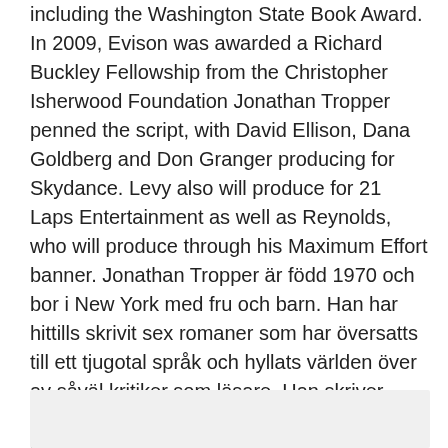including the Washington State Book Award. In 2009, Evison was awarded a Richard Buckley Fellowship from the Christopher Isherwood Foundation Jonathan Tropper penned the script, with David Ellison, Dana Goldberg and Don Granger producing for Skydance. Levy also will produce for 21 Laps Entertainment as well as Reynolds, who will produce through his Maximum Effort banner. Jonathan Tropper är född 1970 och bor i New York med fru och barn. Han har hittills skrivit sex romaner som har översatts till ett tjugotal språk och hyllats världen över av såväl kritiker som läsare. Han skriver även manus för film och tv och är utbildad lärare i engelska och kreativt skrivande.
[Figure (other): Gray rectangle at bottom of page]